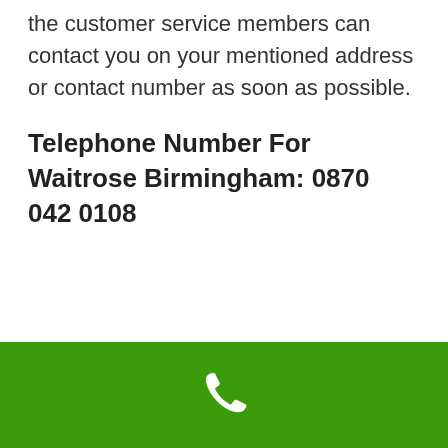the customer service members can contact you on your mentioned address or contact number as soon as possible.
Telephone Number For Waitrose Birmingham: 0870 042 0108
[Figure (illustration): Green footer bar with a white telephone handset icon centered on it]